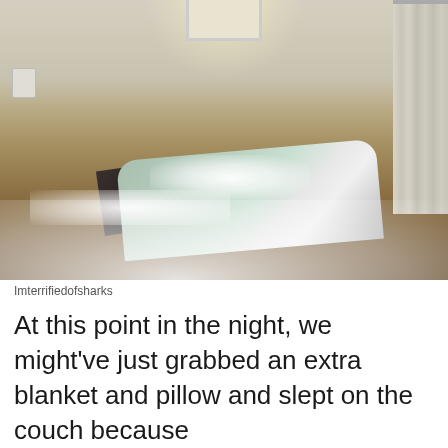[Figure (photo): A bedroom with white stuffing/foam scattered across the floor and bed. A bed with a patterned blanket is partially visible, along with a dark box/case. White soft material (pillow stuffing) is spread across the carpet. A wall light glows at the top center, curtains hang on the right, and a light switch is visible on the left wall.]
Imterrifiedofsharks
At this point in the night, we might've just grabbed an extra blanket and pillow and slept on the couch because